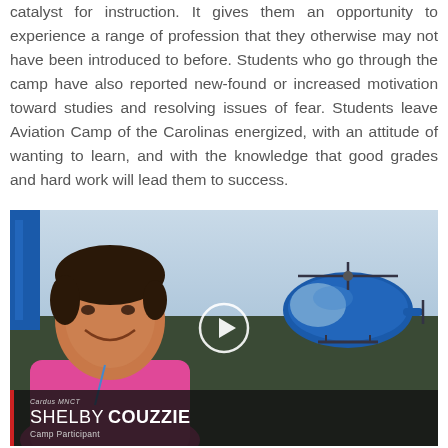catalyst for instruction. It gives them an opportunity to experience a range of profession that they otherwise may not have been introduced to before. Students who go through the camp have also reported new-found or increased motivation toward studies and resolving issues of fear. Students leave Aviation Camp of the Carolinas energized, with an attitude of wanting to learn, and with the knowledge that good grades and hard work will lead them to success.
[Figure (photo): Video screenshot of a young woman smiling in front of a blue helicopter on a tarmac, with a play button overlay. Lower-third graphic shows 'Cardus MNCT' logo, name 'SHELBY COUZZIE', and title 'Camp Participant'.]